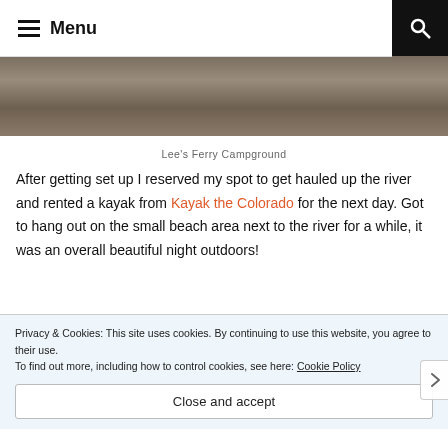≡ Menu
[Figure (photo): Top portion of Lee's Ferry Campground photo showing rocky/gravelly ground]
Lee's Ferry Campground
After getting set up I reserved my spot to get hauled up the river and rented a kayak from Kayak the Colorado for the next day. Got to hang out on the small beach area next to the river for a while, it was an overall beautiful night outdoors!
[Figure (photo): Bottom photo showing blue sky and red rock canyon wall]
Privacy & Cookies: This site uses cookies. By continuing to use this website, you agree to their use.
To find out more, including how to control cookies, see here: Cookie Policy
Close and accept